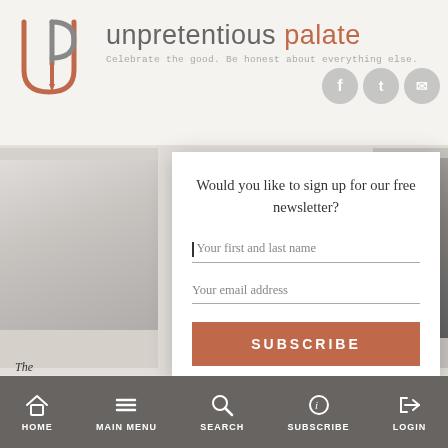[Figure (screenshot): Unpretentious Palate website header with logo (UP pencil icon), site name, tagline 'Celebrate the good. Be honest about everything else.' and social media icons]
[Figure (screenshot): Newsletter signup modal popup with fields for first and last name, email address, and a Subscribe button, overlaid on a blurred article background]
Would you like to sign up for our free newsletter?
Your first and last name
Your email address
SUBSCRIBE
The
UNP
HOME   MAIN MENU   SEARCH   SUBSCRIBE   LOGIN